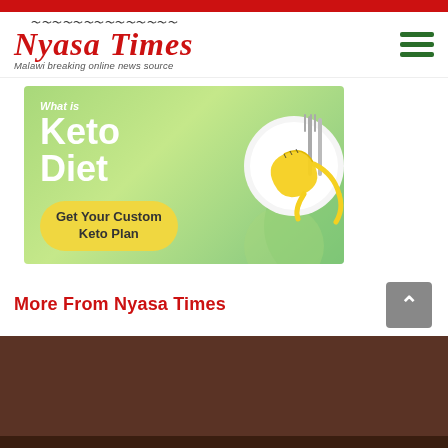Nyasa Times — Malawi breaking online news source
[Figure (illustration): Keto Diet advertisement banner showing text 'Keto Diet' and 'Get Your Custom Keto Plan' button, with a plate, fork and measuring tape image on the right side.]
More From Nyasa Times
[Figure (photo): Close-up photo of a person's midsection wearing colorful beaded jewelry/waistband.]